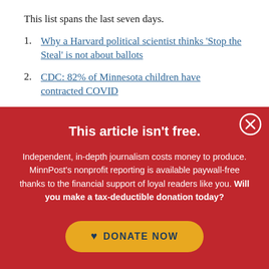This list spans the last seven days.
1. Why a Harvard political scientist thinks 'Stop the Steal' is not about ballots
2. CDC: 82% of Minnesota children have contracted COVID
3. The strange resurrection of Wernher von Braun
4. Republicans turn against League of Women Voters
This article isn't free.
Independent, in-depth journalism costs money to produce. MinnPost's nonprofit reporting is available paywall-free thanks to the financial support of loyal readers like you. Will you make a tax-deductible donation today?
DONATE NOW